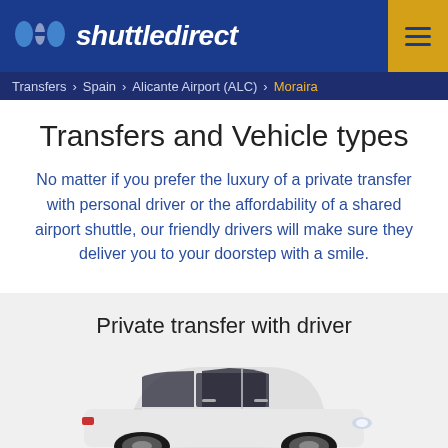shuttledirect
Transfers › Spain › Alicante Airport (ALC) › Moraira
Transfers and Vehicle types
No matter if you prefer the luxury of a private transfer with personal driver or the affordability of a shared airport shuttle, our friendly drivers will make sure they deliver you to your doorstep with a smile.
Private transfer with driver
[Figure (photo): White sedan car photographed from the side-front angle on a light grey background]